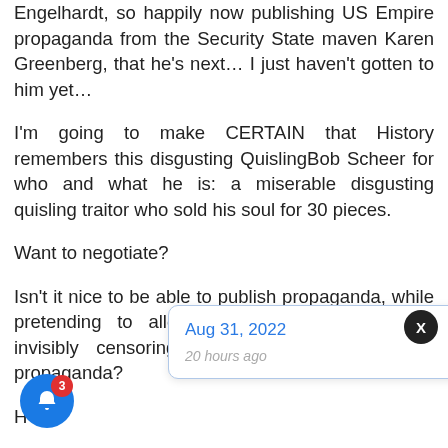Engelhardt, so happily now publishing US Empire propaganda from the Security State maven Karen Greenberg, that he’s next… I just haven’t gotten to him yet…
I’m going to make CERTAIN that History remembers this disgusting QuislingBob Scheer for who and what he is: a miserable disgusting quisling traitor who sold his soul for 30 pieces.
Want to negotiate?
Isn’t it nice to be able to publish propaganda, while pretending to allow public commentary, while invisibly censoring voices that challenge the propaganda?
How do yo... nsored fe...
he Joe Lauria?), decry censorship, while acting
[Figure (other): Tooltip popup showing date 'Aug 31, 2022' in blue and '20 hours ago' in gray, with a dark close button marked X, and a blue notification bell button with red badge showing 3]